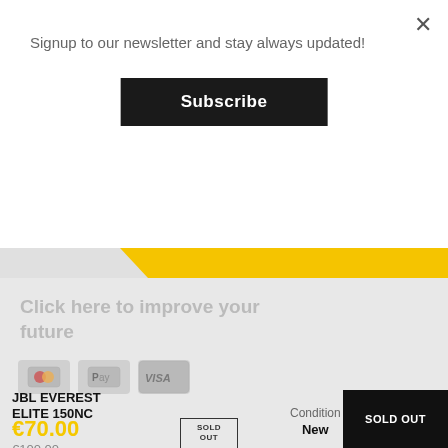Signup to our newsletter and stay always updated!
Subscribe
Click here to improve your future
JBL EVEREST ELITE 150NC
€70.00
€100.00
SOLD OUT
Condition
New
SOLD OUT